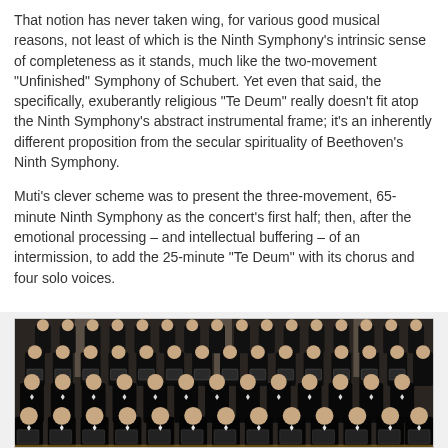That notion has never taken wing, for various good musical reasons, not least of which is the Ninth Symphony's intrinsic sense of completeness as it stands, much like the two-movement "Unfinished" Symphony of Schubert. Yet even that said, the specifically, exuberantly religious "Te Deum" really doesn't fit atop the Ninth Symphony's abstract instrumental frame; it's an inherently different proposition from the secular spirituality of Beethoven's Ninth Symphony.
Muti's clever scheme was to present the three-movement, 65-minute Ninth Symphony as the concert's first half; then, after the emotional processing – and intellectual buffering – of an intermission, to add the 25-minute "Te Deum" with its chorus and four solo voices.
[Figure (photo): A large male chorus performing on stage, all wearing black tuxedos with bow ties, holding black folders/scores. Multiple rows of singers are visible, with ornate architectural columns visible in the background.]